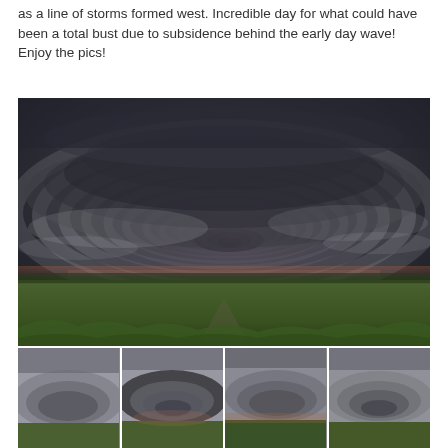as a line of storms formed west. Incredible day for what could have been a total bust due to subsidence behind the early day wave! Enjoy the pics!
[Figure (photo): Large dramatic supercell thunderstorm with rotating wall cloud structure photographed over a flat green field under a dark stormy sky with pinkish horizon glow]
[Figure (photo): Four thumbnail photos of the same supercell storm from slightly different angles or moments, showing the rotating cloud structure against grey sky]